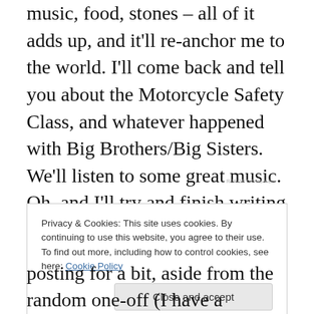music, food, stones – all of it adds up, and it'll re-anchor me to the world. I'll come back and tell you about the Motorcycle Safety Class, and whatever happened with Big Brothers/Big Sisters. We'll listen to some great music. Oh, and I'll try and finish writing the hanggliding adventure. Maybe I'll give you the story about when Steve screwed his hand to the ceiling. That isn't a metaphor, by the way – he literally screwed his hand to the ceiling. And there might even be more polls.
REPORT THIS AD
Privacy & Cookies: This site uses cookies. By continuing to use this website, you agree to their use.
To find out more, including how to control cookies, see here: Cookie Policy
Close and accept
posting for a bit, aside from the random one-off (I have a